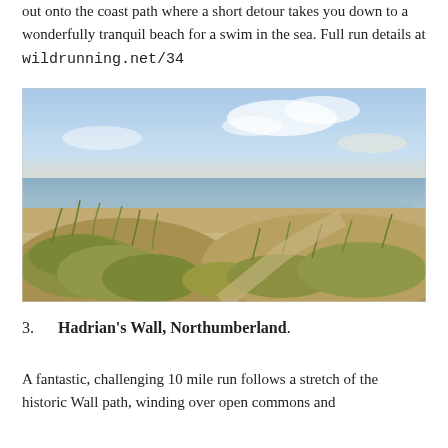out onto the coast path where a short detour takes you down to a wonderfully tranquil beach for a swim in the sea. Full run details at wildrunning.net/34
[Figure (photo): Coastal beach scene with sand dunes covered in marram grass in the foreground, a long sandy beach and calm sea in the middle distance, and a pale blue sky with soft clouds above. Warm golden light suggests late afternoon or evening.]
3.    Hadrian's Wall, Northumberland.
A fantastic, challenging 10 mile run follows a stretch of the historic Wall path, winding over open commons and